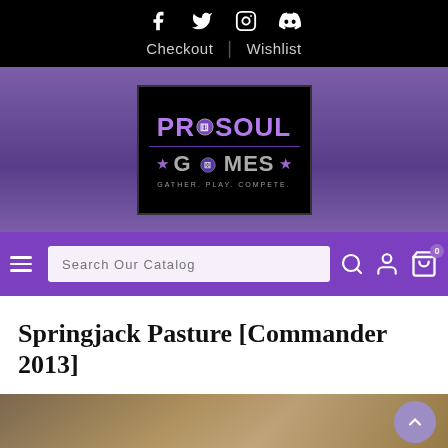Social icons: Facebook, Twitter, Instagram, Discord | Checkout | Wishlist
[Figure (logo): ProSoul Games logo — black background, purple PROSOUL text, grey GAMES text with stars, tagline GATHER. PLAY. COMPETE.]
Search Our Catalog — navigation bar with hamburger menu, search box, search icon, user icon, cart icon (0)
Springjack Pasture [Commander 2013]
[Figure (photo): Bottom strip showing top of a Magic: The Gathering card — Springjack Pasture, brown/tan illustration]